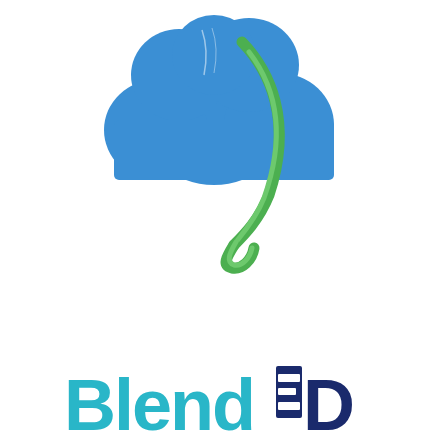[Figure (logo): BlendED logo mark: a blue cloud shape with a green curved leaf/swoosh element overlaid on top]
[Figure (logo): BlendED wordmark text logo showing 'BlendED' where 'Blend' is in teal/cyan color and 'ED' is in dark navy blue, with a dark blue square behind the 'E']